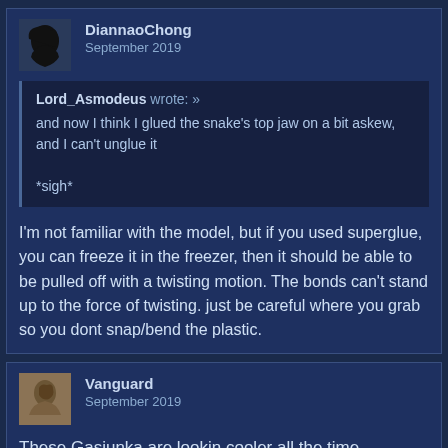DiannaoChong
September 2019
Lord_Asmodeus wrote: »
and now I think I glued the snake's top jaw on a bit askew, and I can't unglue it

*sigh*
I'm not familiar with the model, but if you used superglue, you can freeze it in the freezer, then it should be able to be pulled off with a twisting motion. The bonds can't stand up to the force of twisting. just be careful where you grab so you dont snap/bend the plastic.
Vanguard
September 2019
These Gasiunka are lookin cooler all the time...